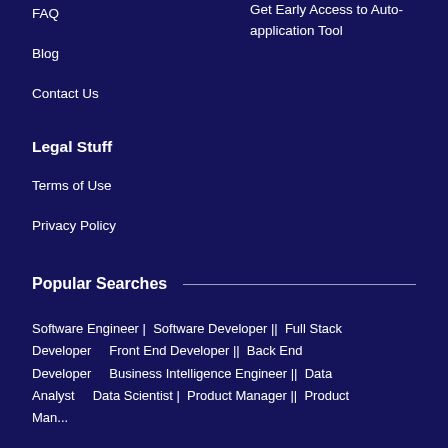FAQ
Blog
Contact Us
Get Early Access to Auto-application Tool
Legal Stuff
Terms of Use
Privacy Policy
Popular Searches
Software Engineer |  Software Developer ||  Full Stack Developer    Front End Developer ||  Back End Developer    Business Intelligence Engineer ||  Data Analyst    Data Scientist |  Product Manager ||  Product Manager to Sales...